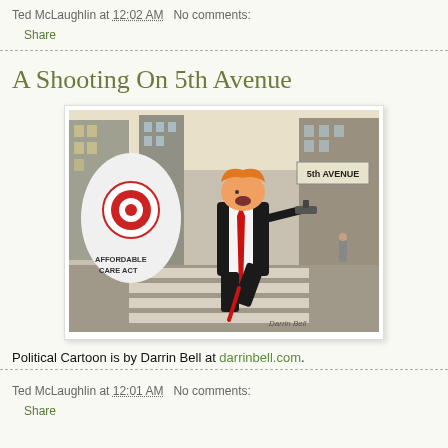Ted McLaughlin at 12:02 AM   No comments:
Share
A Shooting On 5th Avenue
[Figure (illustration): Political cartoon by Darrin Bell showing a caricature of a man in a black suit with orange hair shooting a gun at a figure labeled 'Affordable Care Act' with a target on its back, on 5th Avenue in New York City.]
Political Cartoon is by Darrin Bell at darrinbell.com.
Ted McLaughlin at 12:01 AM   No comments:
Share